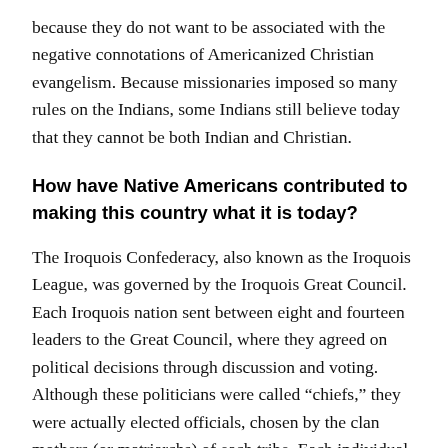because they do not want to be associated with the negative connotations of Americanized Christian evangelism. Because missionaries imposed so many rules on the Indians, some Indians still believe today that they cannot be both Indian and Christian.
How have Native Americans contributed to making this country what it is today?
The Iroquois Confederacy, also known as the Iroquois League, was governed by the Iroquois Great Council. Each Iroquois nation sent between eight and fourteen leaders to the Great Council, where they agreed on political decisions through discussion and voting. Although these politicians were called “chiefs,” they were actually elected officials, chosen by the clan mothers (or matriarchs) of each tribe. Each individual nation also had its own tribal council to make local